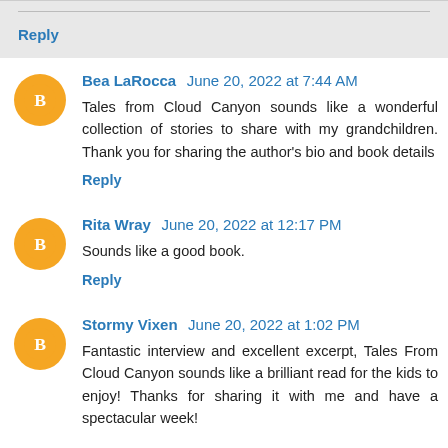Reply
Bea LaRocca  June 20, 2022 at 7:44 AM
Tales from Cloud Canyon sounds like a wonderful collection of stories to share with my grandchildren. Thank you for sharing the author's bio and book details
Reply
Rita Wray  June 20, 2022 at 12:17 PM
Sounds like a good book.
Reply
Stormy Vixen  June 20, 2022 at 1:02 PM
Fantastic interview and excellent excerpt, Tales From Cloud Canyon sounds like a brilliant read for the kids to enjoy! Thanks for sharing it with me and have a spectacular week!